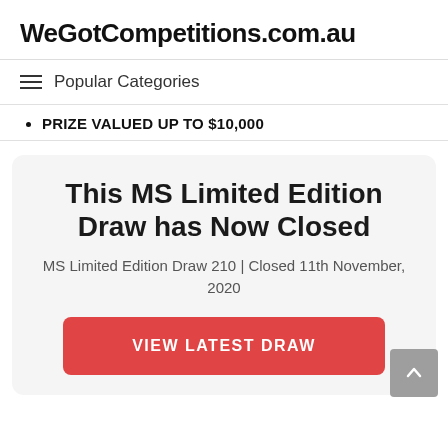WeGotCompetitions.com.au
Popular Categories
PRIZE VALUED UP TO $10,000
This MS Limited Edition Draw has Now Closed
MS Limited Edition Draw 210 | Closed 11th November, 2020
VIEW LATEST DRAW